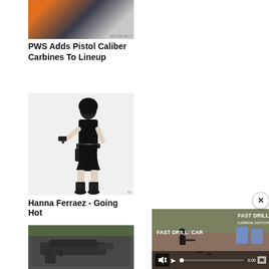[Figure (photo): Close-up photo of a pistol caliber carbine with orange and black coloring, RECOILWEB watermark visible]
PWS Adds Pistol Caliber Carbines To Lineup
[Figure (photo): Black and white photo of Hanna Ferraez posing with a pistol, wearing tactical gear]
Hanna Ferraez - Going Hot
[Figure (photo): Photo of a pistol lying on a dark gun case with green grass in background]
[Figure (screenshot): Video player overlay showing FAST DRILL: CAR... with FAST DRILL CARBINE EDITION text, play button, mute button, 0:00 timecode, and shooting range scene with blue targets]
[Figure (other): Close X button to dismiss video overlay]